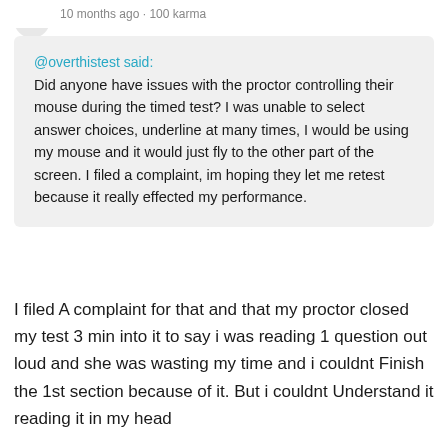10 months ago · 100 karma
@overthistest said:
Did anyone have issues with the proctor controlling their mouse during the timed test? I was unable to select answer choices, underline at many times, I would be using my mouse and it would just fly to the other part of the screen. I filed a complaint, im hoping they let me retest because it really effected my performance.
I filed A complaint for that and that my proctor closed my test 3 min into it to say i was reading 1 question out loud and she was wasting my time and i couldnt Finish the 1st section because of it. But i couldnt Understand it reading it in my head